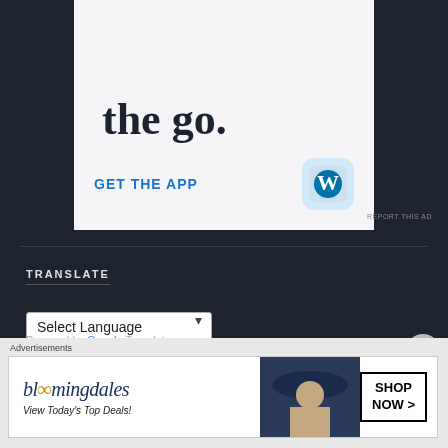[Figure (screenshot): WordPress app advertisement showing 'the go.' text, 'GET THE APP' call-to-action link in blue, and WordPress logo icon on light background]
REPORT THIS AD
TRANSLATE
Select Language
Powered by Google Translate
[Figure (screenshot): Bloomingdale's advertisement with logo, 'View Today's Top Deals!' text, woman in hat photo, and SHOP NOW button]
Advertisements